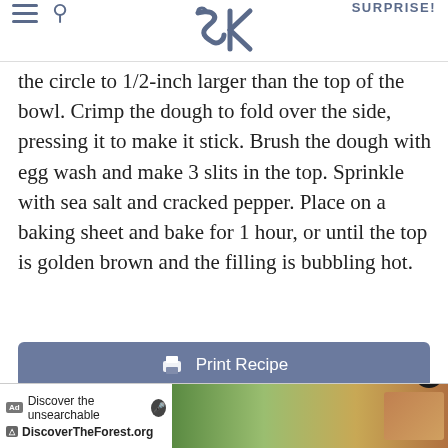SK | SURPRISE!
the circle to 1/2-inch larger than the top of the bowl. Crimp the dough to fold over the side, pressing it to make it stick. Brush the dough with egg wash and make 3 slits in the top. Sprinkle with sea salt and cracked pepper. Place on a baking sheet and bake for 1 hour, or until the top is golden brown and the filling is bubbling hot.
Print Recipe
Email Recipe
Save to Pinterest
[Figure (screenshot): Ad banner: Discover the unsearchable / DiscoverTheForest.org with forest photo]